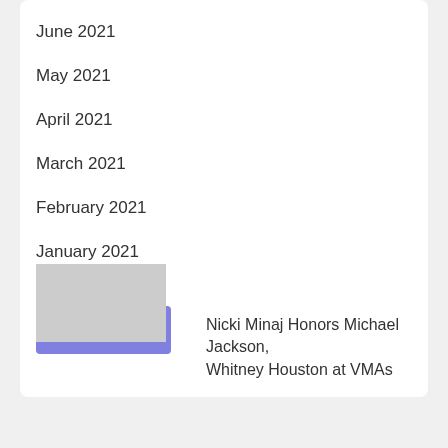June 2021
May 2021
April 2021
March 2021
February 2021
January 2021
July 2020
June 2020
Pop Music
Nicki Minaj Honors Michael Jackson, Whitney Houston at VMAs